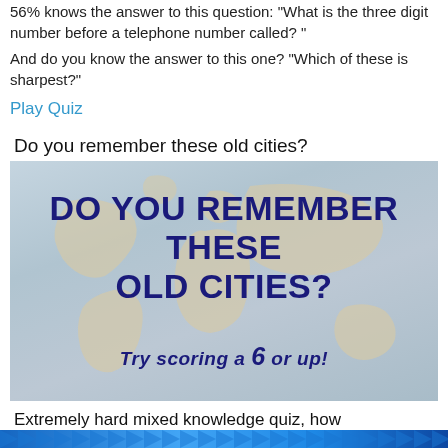56% knows the answer to this question: "What is the three digit number before a telephone number called?"
And do you know the answer to this one? "Which of these is sharpest?"
Play Quiz
Do you remember these old cities?
[Figure (photo): World map background with bold dark blue text reading 'DO YOU REMEMBER THESE OLD CITIES?' and subtitle 'TRY SCORING A 6 OR UP!']
Extremely hard mixed knowledge quiz, how